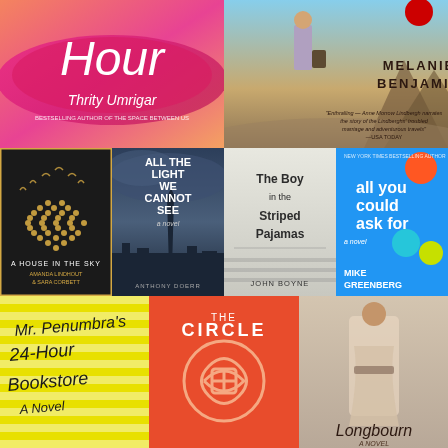[Figure (illustration): Book cover: 'The Space Between Hours' by Thrity Umrigar - orange/pink watercolor background with white italic text 'Hour' and author name]
[Figure (illustration): Book cover: Melanie Benjamin novel - woman walking with luggage in a field, mountains behind, author name in large serif font]
[Figure (illustration): Book cover: 'A House in the Sky' by Amanda Lindhout & Sara Corbett - black cover with birds forming a pineapple shape]
[Figure (illustration): Book cover: 'All the Light We Cannot See' by Anthony Doerr - dark stormy cityscape]
[Figure (illustration): Book cover: 'The Boy in the Striped Pajamas' by John Boyne - white/light cover with title text]
[Figure (illustration): Book cover: 'All You Could Ask For' by Mike Greenberg - bright blue cover with colored dots]
[Figure (illustration): Book cover: 'Mr. Penumbra's 24-Hour Bookstore: A Novel' - yellow cover with handwritten text and geometric pattern]
[Figure (illustration): Book cover: 'The Circle' - orange cover with circular maze/knot logo]
[Figure (illustration): Book cover: 'Longbourn: A Novel' - woman in period dress holding a tray]